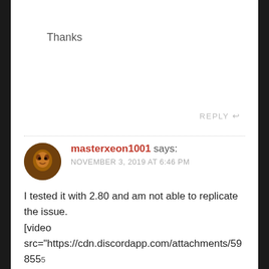Thanks
REPLY ↩
masterxeon1001 says:
NOVEMBER 3, 2019 AT 6:46 PM
I tested it with 2.80 and am not able to replicate the issue.
[video src="https://cdn.discordapp.com/attachments/59855
/]

Attached is a video of how I went about installing it.